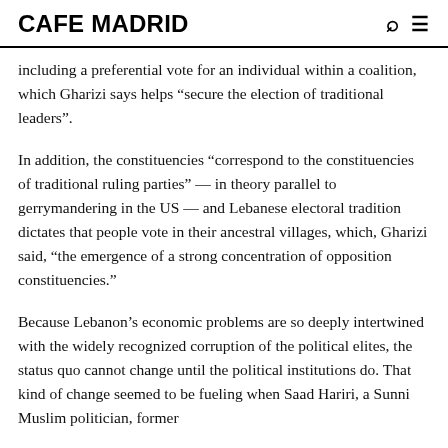CAFE MADRID
including a preferential vote for an individual within a coalition, which Gharizi says helps “secure the election of traditional leaders”.
In addition, the constituencies “correspond to the constituencies of traditional ruling parties” — in theory parallel to gerrymandering in the US — and Lebanese electoral tradition dictates that people vote in their ancestral villages, which, Gharizi said, “the emergence of a strong concentration of opposition constituencies.”
Because Lebanon’s economic problems are so deeply intertwined with the widely recognized corruption of the political elites, the status quo cannot change until the political institutions do. That kind of change seemed to be fueling when Saad Hariri, a Sunni Muslim politician, former